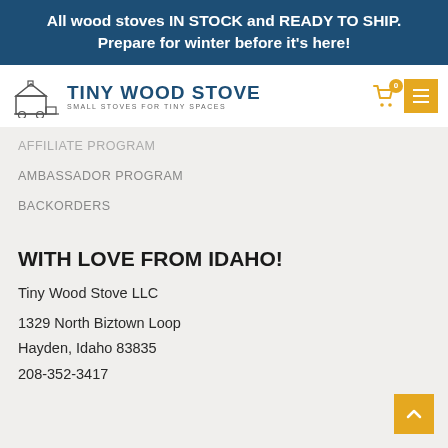All wood stoves IN STOCK and READY TO SHIP. Prepare for winter before it's here!
[Figure (logo): Tiny Wood Stove logo with small stove illustration and text 'SMALL STOVES FOR TINY SPACES']
AFFILIATE PROGRAM
AMBASSADOR PROGRAM
BACKORDERS
WITH LOVE FROM IDAHO!
Tiny Wood Stove LLC
1329 North Biztown Loop
Hayden, Idaho 83835
208-352-3417